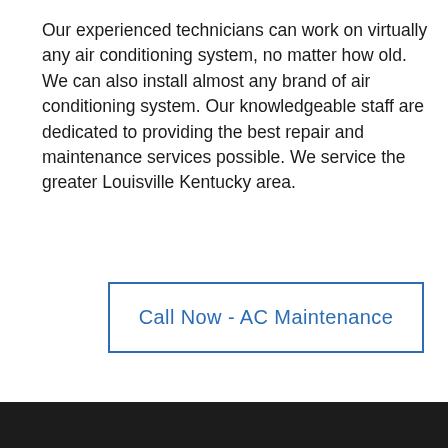Our experienced technicians can work on virtually any air conditioning system, no matter how old. We can also install almost any brand of air conditioning system. Our knowledgeable staff are dedicated to providing the best repair and maintenance services possible. We service the greater Louisville Kentucky area.
Call Now - AC Maintenance
[Figure (photo): Dark strip at bottom of page showing a dark mechanical/equipment background]